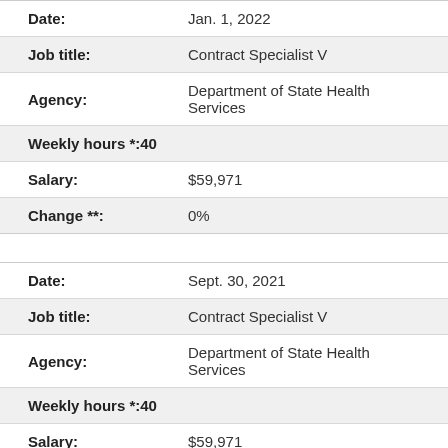| Field | Value |
| --- | --- |
| Date: | Jan. 1, 2022 |
| Job title: | Contract Specialist V |
| Agency: | Department of State Health Services |
| Weekly hours *: | 40 |
| Salary: | $59,971 |
| Change **: | 0% |
| Field | Value |
| --- | --- |
| Date: | Sept. 30, 2021 |
| Job title: | Contract Specialist V |
| Agency: | Department of State Health Services |
| Weekly hours *: | 40 |
| Salary: | $59,971 |